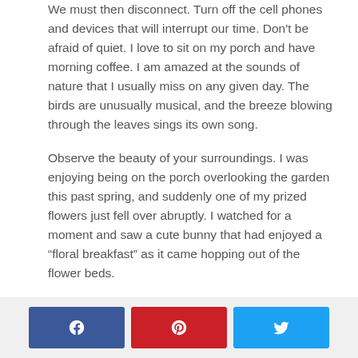We must then disconnect. Turn off the cell phones and devices that will interrupt our time. Don't be afraid of quiet. I love to sit on my porch and have morning coffee. I am amazed at the sounds of nature that I usually miss on any given day. The birds are unusually musical, and the breeze blowing through the leaves sings its own song.
Observe the beauty of your surroundings. I was enjoying being on the porch overlooking the garden this past spring, and suddenly one of my prized flowers just fell over abruptly. I watched for a moment and saw a cute bunny that had enjoyed a "floral breakfast" as it came hopping out of the flower beds.
The biggest challenge in being alone is renewing our minds. I find that if I start thinking of all the things I cherish and love, my mind doesn't return to the "list" of
[Figure (other): Social share buttons: Facebook (blue), Pinterest (red), Twitter (light blue)]